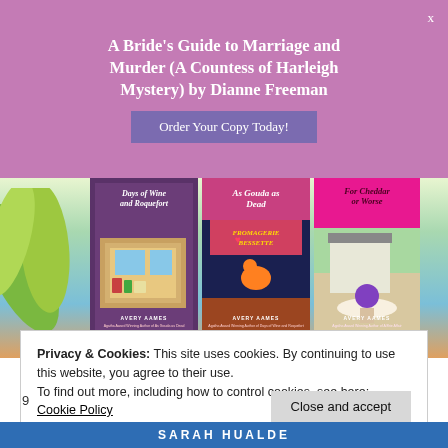A Bride's Guide to Marriage and Murder (A Countess of Harleigh Mystery) by Dianne Freeman
Order Your Copy Today!
[Figure (photo): Three book covers by Avery Aames: 'Days of Wine and Roquefort', 'As Gouda as Dead', 'For Cheddar or Worse', displayed against a beach/tropical background with palm leaves]
Privacy & Cookies: This site uses cookies. By continuing to use this website, you agree to their use.
To find out more, including how to control cookies, see here:
Cookie Policy
Close and accept
9
SARAH HUALDE